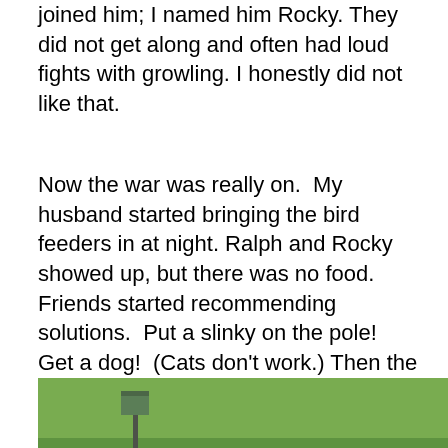joined him; I named him Rocky. They did not get along and often had loud fights with growling. I honestly did not like that.
Now the war was really on.  My husband started bringing the bird feeders in at night. Ralph and Rocky showed up, but there was no food. Friends started recommending solutions.  Put a slinky on the pole!  Get a dog!  (Cats don't work.) Then the best advice came from a friend of mine, who got us into bird feeding and watching years ago. She recommended we get this raccoon baffle thing that is put on the pole. The first night it was on, we just put up two bird feeders to see what would happen.  Ralph could not get the food.
[Figure (photo): Outdoor photo showing a green grassy field with a bird feeder pole on the left and a bare tree or branch in the center-right, set against green vegetation.]